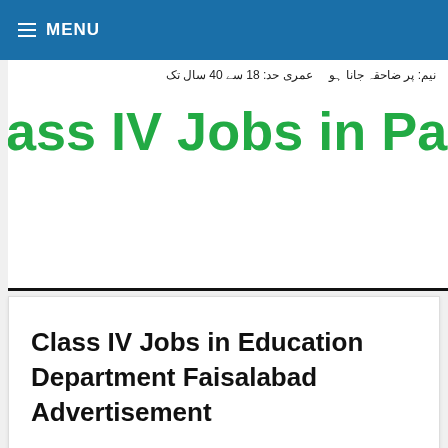☰ MENU
[Figure (screenshot): Cropped image showing Urdu text and a large green heading reading 'ass IV Jobs in Pakista' (partially visible), representing a job advertisement in Pakistan]
Class IV Jobs in Education Department Faisalabad Advertisement